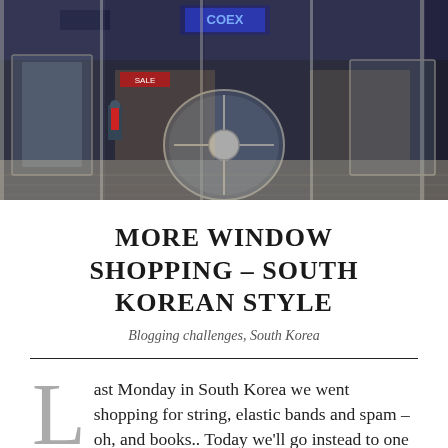[Figure (photo): Interior of a large South Korean shopping mall with revolving glass doors, reflective floors, neon signs, and a person in a red backpack visible in the background.]
MORE WINDOW SHOPPING – SOUTH KOREAN STYLE
Blogging challenges, South Korea
Last Monday in South Korea we went shopping for string, elastic bands and spam – oh, and books.. Today we'll go instead to one of the large